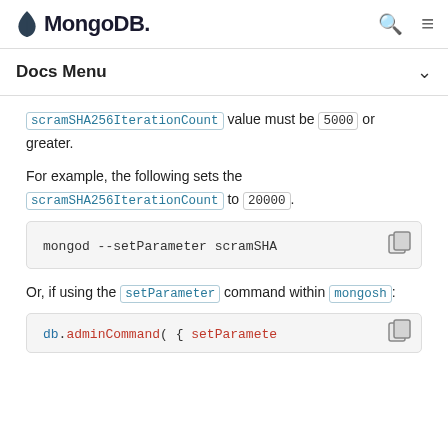MongoDB
Docs Menu
scramSHA256IterationCount value must be 5000 or greater.
For example, the following sets the scramSHA256IterationCount to 20000.
[Figure (screenshot): Code block showing: mongod --setParameter scramSHA...]
Or, if using the setParameter command within mongosh:
[Figure (screenshot): Code block showing: db.adminCommand({ setParamete...]